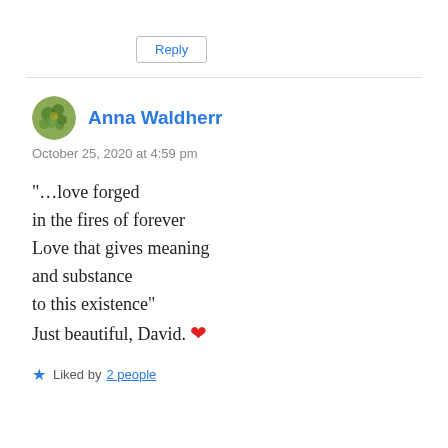Reply
[Figure (illustration): Small circular avatar showing a colorful painted image (blue and green tones)]
Anna Waldherr
October 25, 2020 at 4:59 pm
“…love forged
in the fires of forever
Love that gives meaning
and substance
to this existence”
Just beautiful, David. ❤
Liked by 2 people